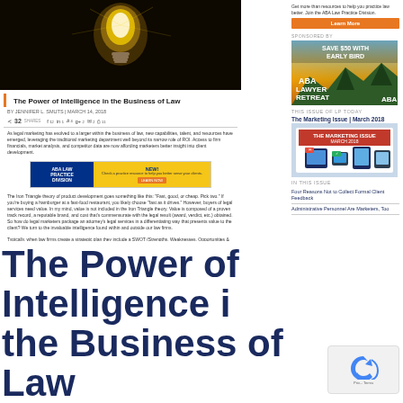[Figure (photo): Glowing light bulb on dark background]
The Power of Intelligence in the Business of Law
BY JENNIFER L. SMUTS | MARCH 14, 2018
32 shares, social sharing icons
As legal marketing has evolved to a larger within the business of law, new capabilities, talent, and resources have emerged, leveraging the traditional marketing department well beyond its narrow role of ROI. Access to firm financials, market analysis, and competitor data are now affording marketers better insight into client development.
[Figure (screenshot): ABA Law Practice Division advertisement banner]
The Iron Triangle theory of product development goes something like this: 'Fast, good, or cheap. Pick two.' If you're buying a hamburger at a fast-food restaurant, you likely choose 'fast as it drives.' However, buyers of legal services need value. In my mind, value is not included in the Iron Triangle theory. Value is composed of a proven track record, a reputable brand, and cost that's commensurate with the legal result (award, verdict, etc.) obtained. So how do legal marketers package an attorney's legal services in a differentiating way that presents value to the client? We turn to the invaluable intelligence found within and outside our law firms.
Typically, when law firms create a strategic plan they include a SWOT (Strengths, Weaknesses, Opportunities & Threats) analysis. This type of analysis is an internal impression (What I think of myself.) To challenge the SWOT analysis assumptions, you need to apply client feedback and competitive intelligence to create a 'blind spot' perspective (What clients and competitors think of me compared to what I think of myself.) With this information, you can decide what to prioritize to drive firm strategy in the most effective way. For instance, if you think 'improvements' as a strength, but client feedback indicates otherwise. Now the firm has an opportunity to develop measures to improve responsiveness and make that a part of its value proposition.
It is not unusual for 80% of a law firm's revenues to come from the top 20% of its clients. With this principle of 'Pareto quantity' in play, it is important to understand your client's business and how you can grow and/or change to maintain or grow your share of the client's legal services spend. At a recent Legal Marketing Association program titled, Using Competitive Intelligence to Drive Your Business, Chris French of CLIENTSFirst Consulting said the
Get more than resources to help you practice law better. Join the ABA Law Practice Division.
Learn More
SPONSORED BY
[Figure (photo): ABA Lawyer Retreat advertisement with mountain scenery - SAVE $50 WITH EARLY BIRD]
THIS ISSUE OF LP TODAY
The Marketing Issue | March 2018
[Figure (screenshot): The Marketing Issue March 2018 magazine cover with mobile devices]
IN THIS ISSUE
Four Reasons Not to Collect Formal Client Feedback
Administrative Personnel Are Marketers, Too
The Power of Intelligence i the Business of Law